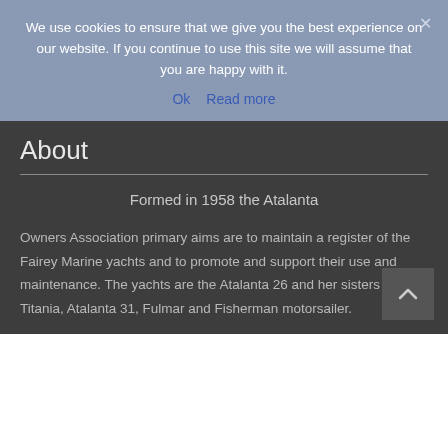We use cookies to ensure that we give you the best experience on our website. If you continue to use this site we will assume that you are happy with it.
Ok   Read more
About
Formed in 1958 the Atalanta
Owners Association primary aims are to maintain a register of the Fairey Marine yachts and to promote and support their use and maintenance. The yachts are the Atalanta 26 and her sisters the Titania, Atalanta 31, Fulmar and Fisherman motorsailer.